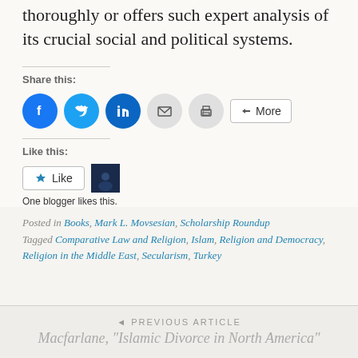thoroughly or offers such expert analysis of its crucial social and political systems.
Share this:
[Figure (infographic): Social share buttons: Facebook (blue circle), Twitter (blue circle), LinkedIn (blue circle), Email (grey circle), Print (grey circle), More button]
Like this:
[Figure (infographic): Like button with star icon and blogger avatar thumbnail]
One blogger likes this.
Posted in Books, Mark L. Movsesian, Scholarship Roundup Tagged Comparative Law and Religion, Islam, Religion and Democracy, Religion in the Middle East, Secularism, Turkey
◄ PREVIOUS ARTICLE
Macfarlane, "Islamic Divorce in North America"